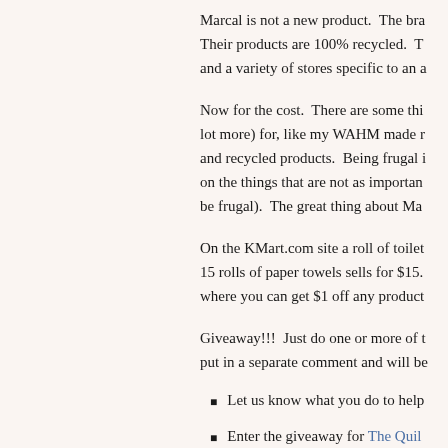Marcal is not a new product.  The bra Their products are 100% recycled.  T and a variety of stores specific to an a
Now for the cost.  There are some thi lot more) for, like my WAHM made r and recycled products.  Being frugal i on the things that are not as importan be frugal).  The great thing about Ma
On the KMart.com site a roll of toilet 15 rolls of paper towels sells for $15. where you can get $1 off any product
Giveaway!!!  Just do one or more of t put in a separate comment and will be
Let us know what you do to help
Enter the giveaway for The Quil